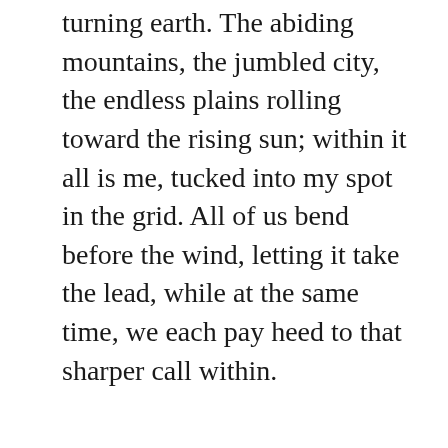turning earth. The abiding mountains, the jumbled city, the endless plains rolling toward the rising sun; within it all is me, tucked into my spot in the grid. All of us bend before the wind, letting it take the lead, while at the same time, we each pay heed to that sharper call within.